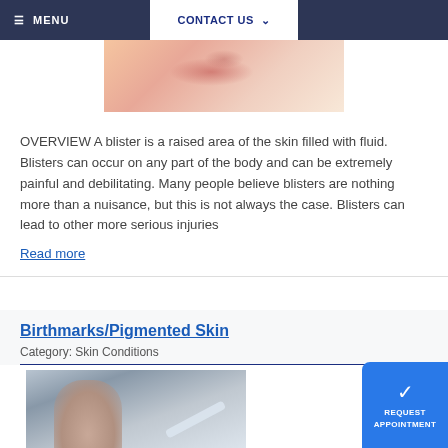MENU | CONTACT US
[Figure (photo): Close-up photo of skin with rash or blister on it]
OVERVIEW A blister is a raised area of the skin filled with fluid. Blisters can occur on any part of the body and can be extremely painful and debilitating. Many people believe blisters are nothing more than a nuisance, but this is not always the case. Blisters can lead to other more serious injuries
Read more
Birthmarks/Pigmented Skin
Category: Skin Conditions
[Figure (photo): Photo of person's neck/shoulder area being examined with a medical instrument]
REQUEST APPOINTMENT